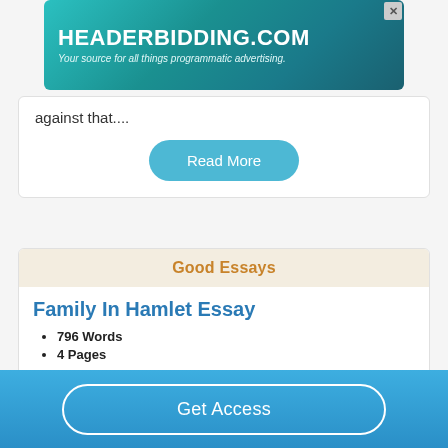[Figure (other): Advertisement banner for HEADERBIDDING.COM with text 'Your source for all things programmatic advertising.']
against that....
Read More
Good Essays
Family In Hamlet Essay
796 Words
4 Pages
Then, Laertes chooses to become a participant in the killing of Hamlet. As aforementioned, this plan for death is a
Get Access